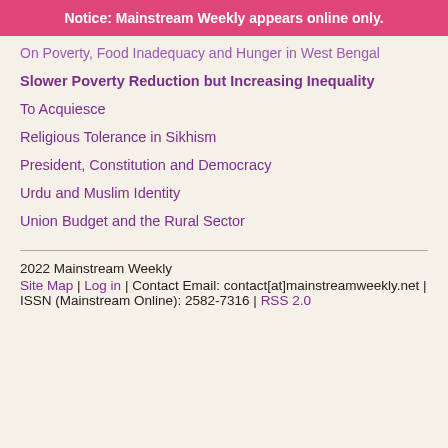Notice: Mainstream Weekly appears online only.
On Poverty, Food Inadequacy and Hunger in West Bengal
Slower Poverty Reduction but Increasing Inequality
To Acquiesce
Religious Tolerance in Sikhism
President, Constitution and Democracy
Urdu and Muslim Identity
Union Budget and the Rural Sector
2022 Mainstream Weekly
Site Map | Log in | Contact Email: contact[at]mainstreamweekly.net | ISSN (Mainstream Online): 2582-7316 | RSS 2.0